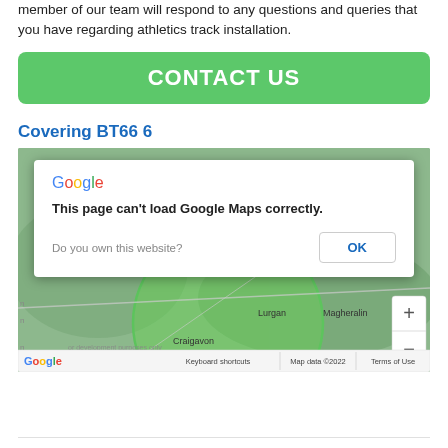member of our team will respond to any questions and queries that you have regarding athletics track installation.
[Figure (other): Green CONTACT US button]
Covering BT66 6
[Figure (map): Google Maps embed showing area around Craigavon, Portadown, Lurgan, Magheralin with a Google error dialog: 'This page can't load Google Maps correctly. Do you own this website? OK'. Map data ©2022. Zoom controls visible. Google logo at bottom left.]